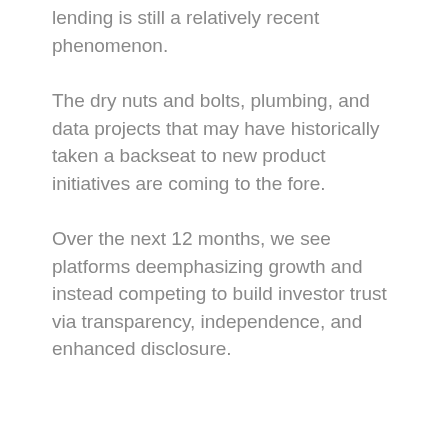lending is still a relatively recent phenomenon.
The dry nuts and bolts, plumbing, and data projects that may have historically taken a backseat to new product initiatives are coming to the fore.
Over the next 12 months, we see platforms deemphasizing growth and instead competing to build investor trust via transparency, independence, and enhanced disclosure.